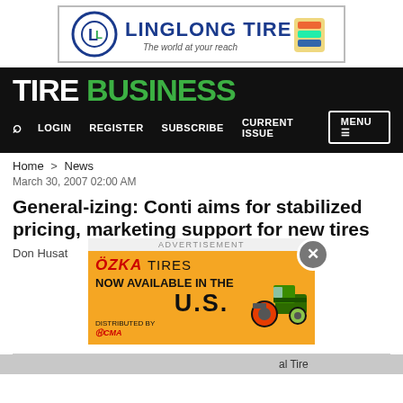[Figure (logo): Linglong Tire advertisement banner with logo and tagline 'The world at your reach']
TIRE BUSINESS
LOGIN   REGISTER   SUBSCRIBE   CURRENT ISSUE   MENU
Home > News
March 30, 2007 02:00 AM
General-izing: Conti aims for stabilized pricing, marketing support for new tires
Don Husat
[Figure (illustration): OZKA TIRES advertisement - NOW AVAILABLE IN THE U.S. with tractor image and CMA distributor logo. Orange background.]
al Tire